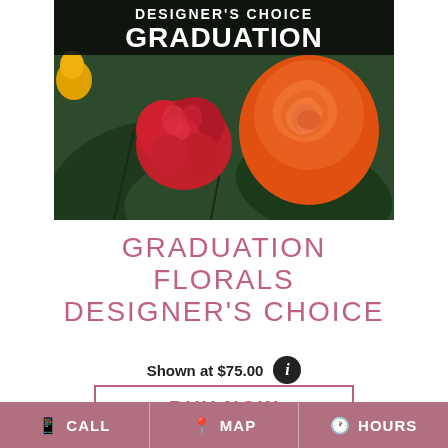[Figure (photo): Photo of graduation floral arrangement featuring red carnations, orange roses, and green tropical leaves with 'Designer's Choice Graduation' banner overlay in white text on dark background.]
GRADUATION FLORALS DESIGNER'S CHOICE
Shown at $75.00
BUY NOW
CALL   MAP   HOURS